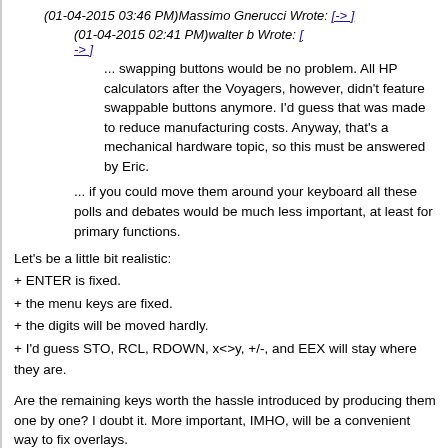(01-04-2015 03:46 PM)Massimo Gnerucci Wrote: [-> ]
(01-04-2015 02:41 PM)walter b Wrote: [-> ]... swapping buttons would be no problem. All HP calculators after the Voyagers, however, didn't feature swappable buttons anymore. I'd guess that was made to reduce manufacturing costs. Anyway, that's a mechanical hardware topic, so this must be answered by Eric.
... if you could move them around your keyboard all these polls and debates would be much less important, at least for primary functions.
Let's be a little bit realistic:
+ ENTER is fixed.
+ the menu keys are fixed.
+ the digits will be moved hardly.
+ I'd guess STO, RCL, RDOWN, x<>y, +/-, and EEX will stay where they are.
Are the remaining keys worth the hassle introduced by producing them one by one? I doubt it. More important, IMHO, will be a convenient way to fix overlays.